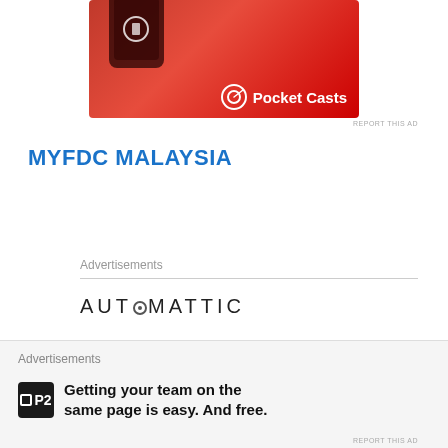[Figure (photo): Pocket Casts app advertisement banner showing a red smartphone with the Pocket Casts logo and name on a red background]
REPORT THIS AD
MYFDC MALAYSIA
Advertisements
[Figure (logo): Automattic logo — AUTOMATTIC in wide-spaced uppercase letters with a stylized 'O']
Build a better web
Advertisements
[Figure (logo): P2 by WordPress logo — black square with P2 text]
Getting your team on the same page is easy. And free.
REPORT THIS AD